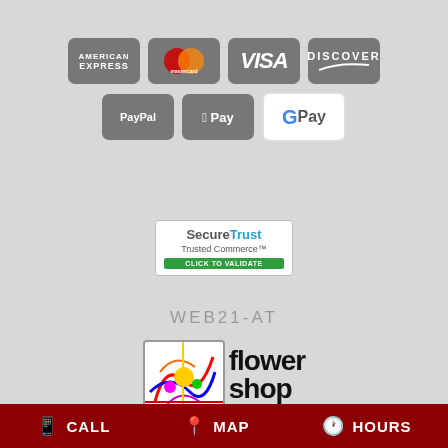[Figure (logo): Payment method icons: American Express, Mastercard, Visa, Discover, PayPal, Apple Pay, Google Pay]
[Figure (logo): SecureTrust Trusted Commerce badge with CLICK TO VALIDATE button, and text WEB21-AT below]
WEB21-AT
[Figure (logo): Flower Shop Network logo with colorful icon and text 'Flower Shop network.com']
CRETE, NE FUNERAL HOMES | CRETE, NE HOSPITALS | CRETE, NE WEDDING FLOWER VENDORS
CALL   MAP   HOURS